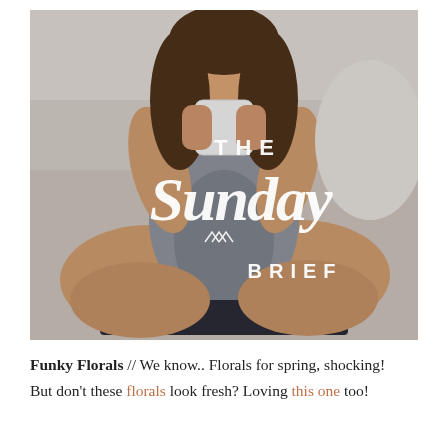[Figure (photo): A woman sitting cross-legged on a bed holding a white mug with both hands, wearing a gray t-shirt, with a laptop/tablet in her lap. Overlaid text reads 'THE Sunday BRIEF' with a small mountain/chevron logo icon.]
Funky Florals // We know.. Florals for spring, shocking! But don't these florals look fresh? Loving this one too!